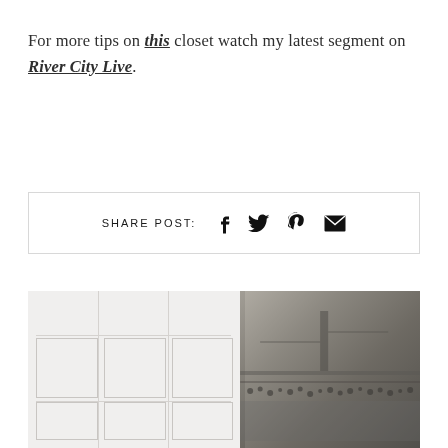For more tips on this closet watch my latest segment on River City Live.
SHARE POST: [facebook] [twitter] [pinterest] [email]
[Figure (photo): A photo showing white paneled closet doors on the left and a framed black-and-white photograph of a crowd near a bridge or waterway on the right]